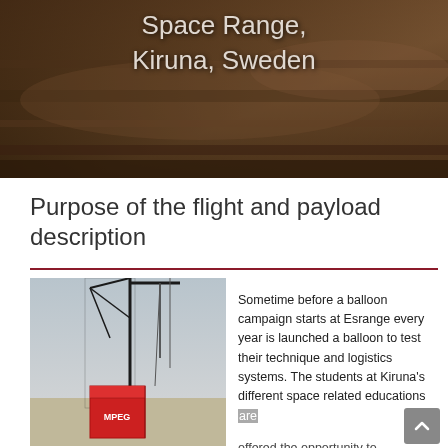[Figure (photo): Aerial/ground photo of space range landscape with text overlay reading 'Space Range, Kiruna, Sweden']
Space Range,
Kiruna, Sweden
Purpose of the flight and payload description
[Figure (photo): Photo of a balloon launch setup with crane and red MPEG payload box at Esrange Space Range]
Sometime before a balloon campaign starts at Esrange every year is launched a balloon to test their technique and logistics systems. The students at Kiruna's different space related educations are offered the opportunity to